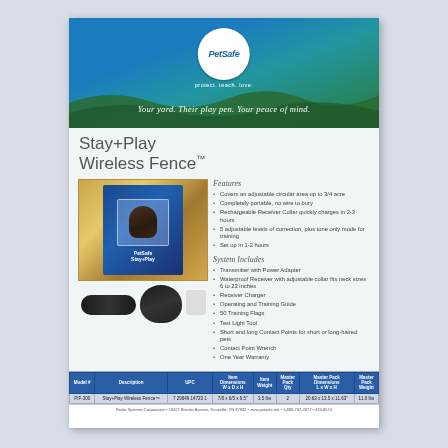[Figure (logo): PetSafe logo with circular emblem on blue/green gradient banner with tagline 'protect. teach. love.' and italic text 'Your yard. Their play pen. Your peace of mind.']
Stay+Play Wireless Fence™
[Figure (photo): Product photo showing the Stay+Play Wireless Fence box, transmitter unit, receiver collar, and charger components]
Features
Covers an adjustable circular area up to 3/4 acre
Completely portable, no wire to bury
Rechargeable Receiver Collar quickly charges in 2-3 hours
5 adjustable levels of correction, plus tone only mode for training
Set up in 1-2 hours
System Includes
Transmitter with Power Adapter
Waterproof Receiver with adjustable collar fits neck sizes 6 to 23 inches
Receiver Charger
Operating and Training Guide
50 Training Flags
Test Light Tool
Short and long Contact Points for short or long-haired pets
Contact Point Wrench
One Year Warranty
| Model # | Description | UPC | Item Dimensions W x D x H | Item Weight | Master Pack Qty | Master Pack Dimensions L x W x H | Master Pack Weight |
| --- | --- | --- | --- | --- | --- | --- | --- |
| PIF-300 | Stay+Play Wireless Fence™ | 7 29849 14723 1 | 7/8 x 6/5 x 9.5" | 3.5 lbs | 2 | 20.63 x 13.5 x 11.63" | 11.0 lbs |
Radio Systems Corporation • 10427 Electric Avenue, Knoxville, TN 37932 • www.petsafe.net • 1-800-732-2677 • 419-8574